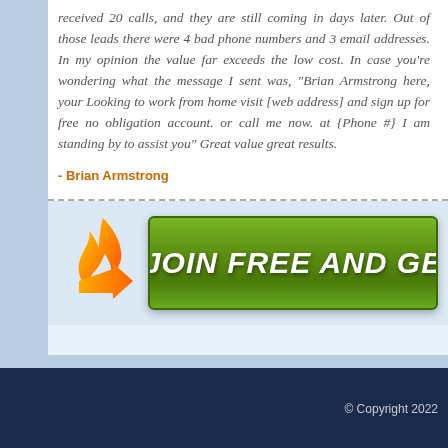received 20 calls, and they are still coming in days later. Out of those leads there were 4 bad phone numbers and 3 email addresses. In my opinion the value far exceeds the low cost. In case you're wondering what the message I sent was, "Brian Armstrong here, your Looking to work from home visit [web address] and sign up for free no obligation account. or call me now. at {Phone #} I am standing by to assist you" Great value great results.
- Brian Armstrong
[Figure (infographic): Green call-to-action button with text JOIN FREE AND GE... and an orange flame/arrow icon to the left]
© Copyright 2022